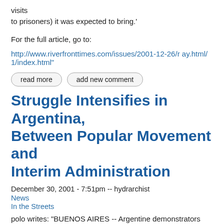visits
to prisoners) it was expected to bring.'
For the full article, go to:
http://www.riverfronttimes.com/issues/2001-12-26/r ay.html/1/index.html"
read more
add new comment
Struggle Intensifies in Argentina, Between Popular Movement and Interim Administration
December 30, 2001 - 7:51pm -- hydrarchist
News
In the Streets
polo writes: "BUENOS AIRES -- Argentine demonstrators clashed with police outside the presidential palace and broke down the doors of Congress on Saturday in anger at the new government's handling of a deep recession barely a